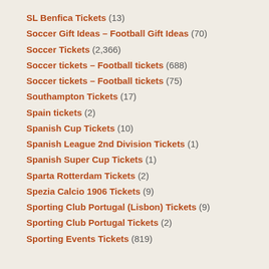SL Benfica Tickets (13)
Soccer Gift Ideas – Football Gift Ideas (70)
Soccer Tickets (2,366)
Soccer tickets – Football tickets (688)
Soccer tickets – Football tickets (75)
Southampton Tickets (17)
Spain tickets (2)
Spanish Cup Tickets (10)
Spanish League 2nd Division Tickets (1)
Spanish Super Cup Tickets (1)
Sparta Rotterdam Tickets (2)
Spezia Calcio 1906 Tickets (9)
Sporting Club Portugal (Lisbon) Tickets (9)
Sporting Club Portugal Tickets (2)
Sporting Events Tickets (819)